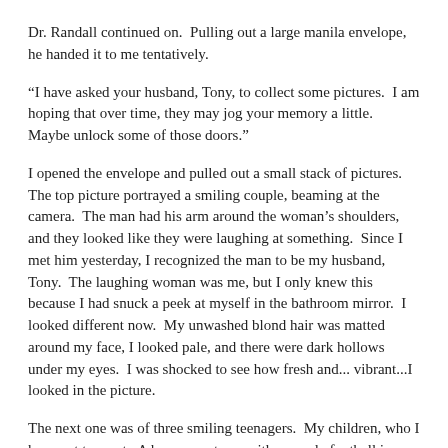Dr. Randall continued on.  Pulling out a large manila envelope, he handed it to me tentatively.
“I have asked your husband, Tony, to collect some pictures.  I am hoping that over time, they may jog your memory a little.  Maybe unlock some of those doors.”
I opened the envelope and pulled out a small stack of pictures.  The top picture portrayed a smiling couple, beaming at the camera.  The man had his arm around the woman’s shoulders, and they looked like they were laughing at something.  Since I met him yesterday, I recognized the man to be my husband, Tony.  The laughing woman was me, but I only knew this because I had snuck a peek at myself in the bathroom mirror.  I looked different now.  My unwashed blond hair was matted around my face, I looked pale, and there were dark hollows under my eyes.  I was shocked to see how fresh and...vibrant...I looked in the picture.
The next one was of three smiling teenagers.  My children, who I have yet to meet.  A boy, seventeen, with a purple football jersey on, had